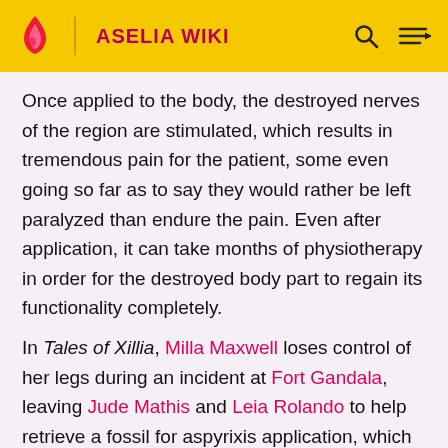ASELIA WIKI
Once applied to the body, the destroyed nerves of the region are stimulated, which results in tremendous pain for the patient, some even going so far as to say they would rather be left paralyzed than endure the pain. Even after application, it can take months of physiotherapy in order for the destroyed body part to regain its functionality completely.
In Tales of Xillia, Milla Maxwell loses control of her legs during an incident at Fort Gandala, leaving Jude Mathis and Leia Rolando to help retrieve a fossil for aspyrixis application, which proves to be successful. After her human body decays and she is reborn as a spirit, she no longer requires the device. In Tales of Xillia 2, Rideaux Zek Rugievit states that he was a sickly child treated with